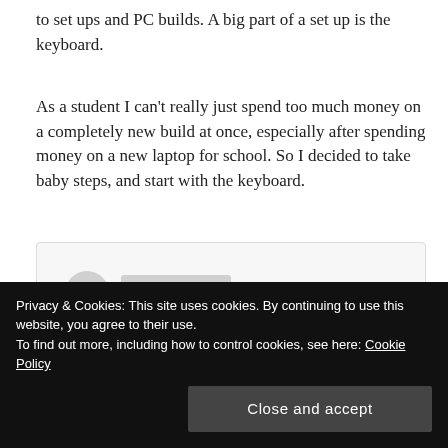to set ups and PC builds. A big part of a set up is the keyboard.
As a student I can't really just spend too much money on a completely new build at once, especially after spending money on a new laptop for school. So I decided to take baby steps, and start with the keyboard.
[Figure (screenshot): Embedded social media post placeholder showing a grey avatar circle and two grey placeholder lines representing user name and post text.]
Privacy & Cookies: This site uses cookies. By continuing to use this website, you agree to their use.
To find out more, including how to control cookies, see here: Cookie Policy